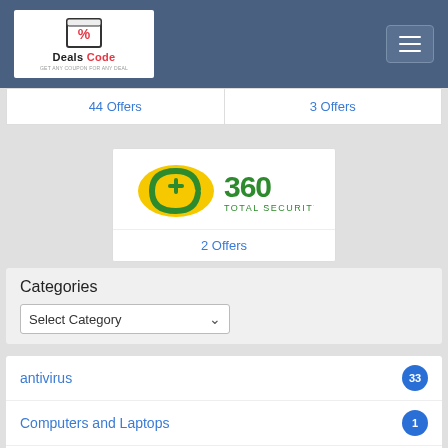[Figure (logo): Deals Code logo with percent icon and tagline GET ANY COUPON FOR ANY DEAL]
44 Offers
3 Offers
[Figure (logo): 360 Total Security logo]
2 Offers
Categories
Select Category
antivirus 33
Computers and Laptops 1
Education&Courses 2
Electronic Accessories